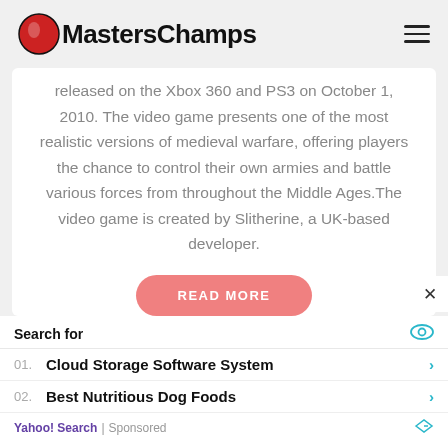MastersChamps
released on the Xbox 360 and PS3 on October 1, 2010. The video game presents one of the most realistic versions of medieval warfare, offering players the chance to control their own armies and battle various forces from throughout the Middle Ages.The video game is created by Slitherine, a UK-based developer.
READ MORE
Search for
01. Cloud Storage Software System
02. Best Nutritious Dog Foods
Yahoo! Search | Sponsored